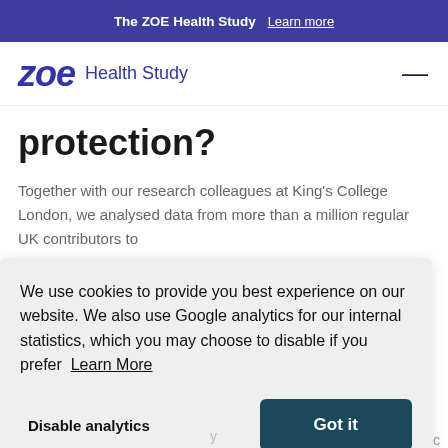The ZOE Health Study  Learn more
[Figure (logo): ZOE Health Study logo with stylized italic 'zoe' text in dark blue and 'Health Study' label]
protection?
Together with our research colleagues at King's College London, we analysed data from more than a million regular UK contributors to
We use cookies to provide you best experience on our website. We also use Google analytics for our internal statistics, which you may choose to disable if you prefer  Learn More
Disable analytics
Got it